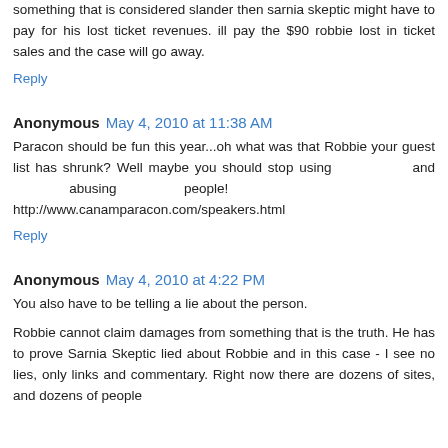something that is considered slander then sarnia skeptic might have to pay for his lost ticket revenues. ill pay the $90 robbie lost in ticket sales and the case will go away.
Reply
Anonymous May 4, 2010 at 11:38 AM
Paracon should be fun this year...oh what was that Robbie your guest list has shrunk? Well maybe you should stop using and abusing people! http://www.canamparacon.com/speakers.html
Reply
Anonymous May 4, 2010 at 4:22 PM
You also have to be telling a lie about the person.
Robbie cannot claim damages from something that is the truth. He has to prove Sarnia Skeptic lied about Robbie and in this case - I see no lies, only links and commentary. Right now there are dozens of sites, and dozens of people